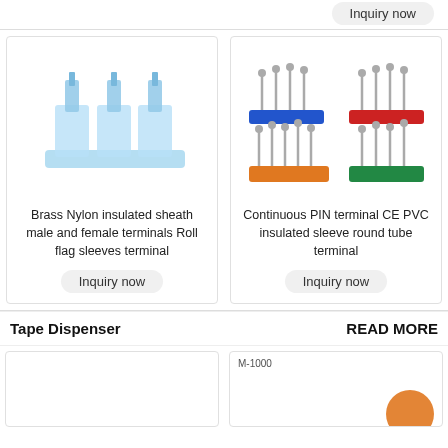Inquiry now
[Figure (photo): Brass Nylon insulated sheath male and female terminals Roll flag sleeves terminal - blue transparent connectors on a rail]
Brass Nylon insulated sheath male and female terminals Roll flag sleeves terminal
Inquiry now
[Figure (photo): Continuous PIN terminal CE PVC insulated sleeve round tube terminal - four groups in blue, red, orange, and green colors]
Continuous PIN terminal CE PVC insulated sleeve round tube terminal
Inquiry now
Tape Dispenser
READ MORE
[Figure (photo): Empty white product card placeholder]
[Figure (photo): Product card with M-1000 label and partial orange circular element visible]